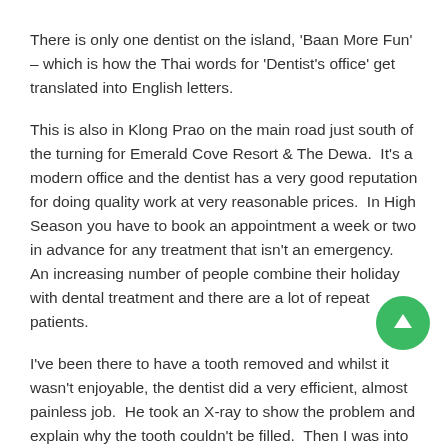There is only one dentist on the island, 'Baan More Fun' – which is how the Thai words for 'Dentist's office' get translated into English letters.
This is also in Klong Prao on the main road just south of the turning for Emerald Cove Resort & The Dewa.  It's a modern office and the dentist has a very good reputation for doing quality work at very reasonable prices.  In High Season you have to book an appointment a week or two in advance for any treatment that isn't an emergency.  An increasing number of people combine their holiday with dental treatment and there are a lot of repeat patients.
I've been there to have a tooth removed and whilst it wasn't enjoyable, the dentist did a very efficient, almost painless job.  He took an X-ray to show the problem and explain why the tooth couldn't be filled.  Then I was into the chair where you have an overhead TV to watch to distract you.  10 minutes later the tooth